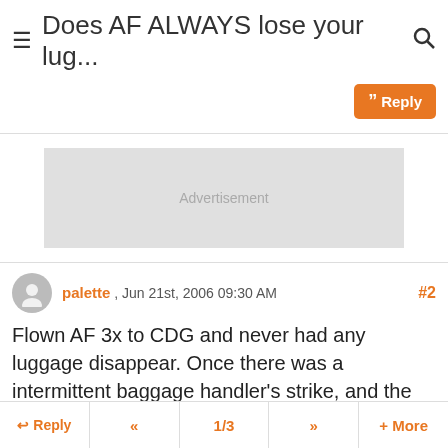Does AF ALWAYS lose your lug...
Reply
[Figure (other): Advertisement placeholder box]
palette , Jun 21st, 2006 09:30 AM  #2
Flown AF 3x to CDG and never had any luggage disappear. Once there was a intermittent baggage handler's strike, and the carousel only delivered one or two bags at a time every 20 minutes or so, but that wasn't the airline.
Reply
rkkwan , Jun 21st, 2006 09:31 AM  #3
Reply  <<  1/3  >>  + More